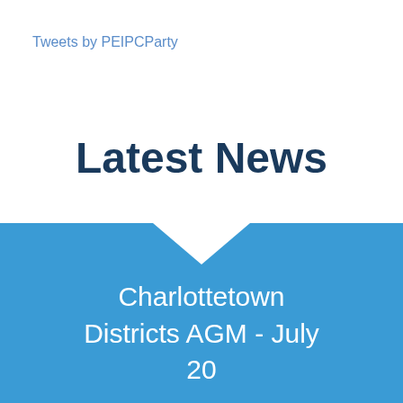Tweets by PEIPCParty
Latest News
Charlottetown Districts AGM - July 20